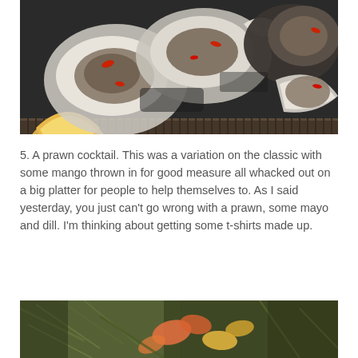[Figure (photo): Close-up photo of oysters on the half shell arranged on a round platter with ice, garnished with lemon wedges and red chili pieces]
5. A prawn cocktail. This was a variation on the classic with some mango thrown in for good measure all whacked out on a big platter for people to help themselves to. As I said yesterday, you just can't go wrong with a prawn, some mayo and dill. I'm thinking about getting some t-shirts made up.
[Figure (photo): Close-up photo of a prawn cocktail salad with shrimp, mango, herbs and greens on a platter]